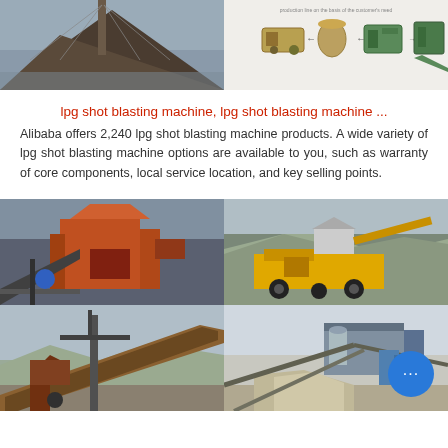[Figure (photo): Two images at top: left shows a large pile of gravel/aggregate material with a bridge in background; right shows industrial processing machine diagram with equipment icons and arrows on white background]
lpg shot blasting machine, lpg shot blasting machine ...
Alibaba offers 2,240 lpg shot blasting machine products. A wide variety of lpg shot blasting machine options are available to you, such as warranty of core components, local service location, and key selling points.
[Figure (photo): Four photos in 2x2 grid showing industrial mining/crushing equipment: top-left shows orange industrial crusher machinery; top-right shows yellow mobile crushing plant in quarry; bottom-left shows conveyor belt system at mining site; bottom-right shows industrial processing facility with conveyor belts and aggregate piles]